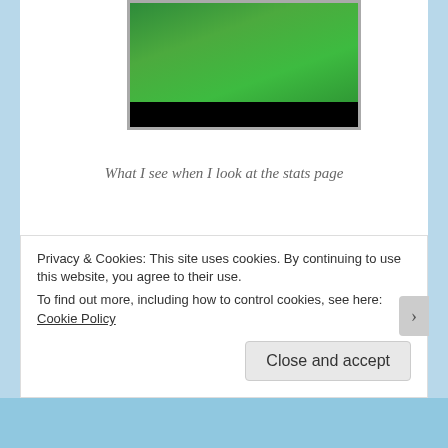[Figure (screenshot): A green illuminated panel or button display with a black bar at the bottom, framed in gray]
What I see when I look at the stats page
These stats tell me a lot about community. It tells me that people have seen our posts and are interacting and are therefore making me a part of the community. I am
Privacy & Cookies: This site uses cookies. By continuing to use this website, you agree to their use.
To find out more, including how to control cookies, see here: Cookie Policy
Close and accept